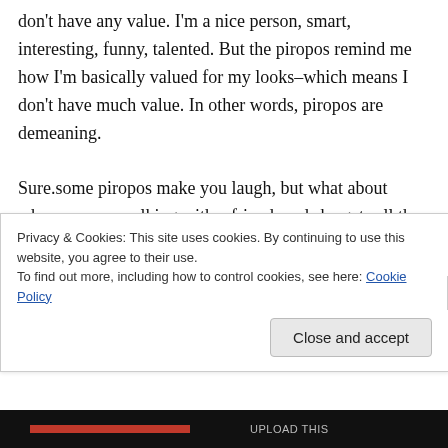don't have any value. I'm a nice person, smart, interesting, funny, talented. But the piropos remind me how I'm basically valued for my looks–which means I don't have much value. In other words, piropos are demeaning.

Sure.some piropos make you laugh, but what about when you are walking with a friend, and she gets all the piropos. I'm reminded that I'm the ugly one, and my friend, if she is a nice person, probably feels bad that her friend is
Privacy & Cookies: This site uses cookies. By continuing to use this website, you agree to their use.
To find out more, including how to control cookies, see here: Cookie Policy
Close and accept